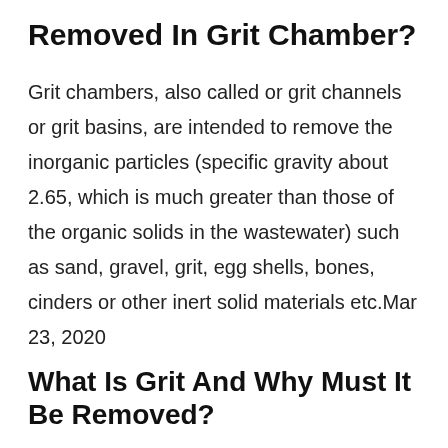Removed In Grit Chamber?
Grit chambers, also called or grit channels or grit basins, are intended to remove the inorganic particles (specific gravity about 2.65, which is much greater than those of the organic solids in the wastewater) such as sand, gravel, grit, egg shells, bones, cinders or other inert solid materials etc.Mar 23, 2020
What Is Grit And Why Must It Be Removed?